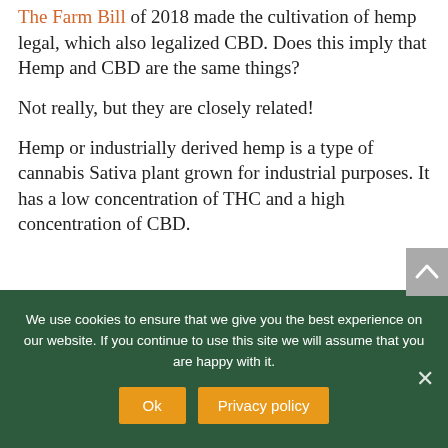The Farm Bill of 2018 made the cultivation of hemp legal, which also legalized CBD. Does this imply that Hemp and CBD are the same things?
Not really, but they are closely related!
Hemp or industrially derived hemp is a type of cannabis Sativa plant grown for industrial purposes. It has a low concentration of THC and a high concentration of CBD.
We use cookies to ensure that we give you the best experience on our website. If you continue to use this site we will assume that you are happy with it.